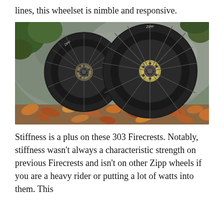lines, this wheelset is nimble and responsive.
[Figure (photo): Two Zipp 303 Firecrest carbon wheels leaning against a large granite rock, with autumn leaves on the ground. The smaller front wheel is on the left and the larger rear wheel is on the right, both showing disc brake hubs and thin spokes.]
Stiffness is a plus on these 303 Firecrests. Notably, stiffness wasn't always a characteristic strength on previous Firecrests and isn't on other Zipp wheels if you are a heavy rider or putting a lot of watts into them. This